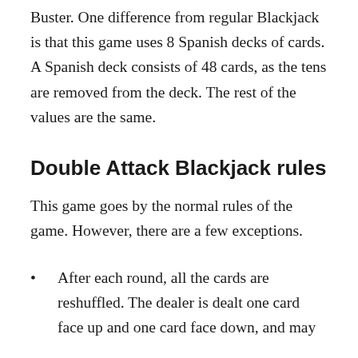Buster. One difference from regular Blackjack is that this game uses 8 Spanish decks of cards. A Spanish deck consists of 48 cards, as the tens are removed from the deck. The rest of the values are the same.
Double Attack Blackjack rules
This game goes by the normal rules of the game. However, there are a few exceptions.
After each round, all the cards are reshuffled. The dealer is dealt one card face up and one card face down, and may